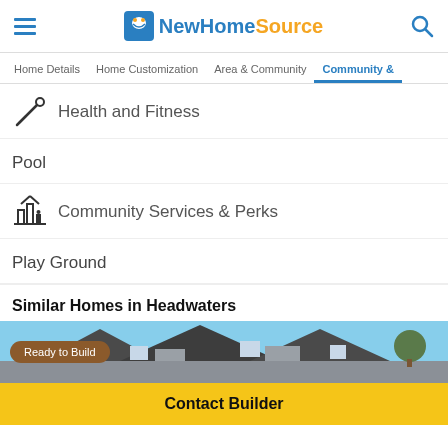NewHomeSource
Home Details | Home Customization | Area & Community | Community &
Health and Fitness
Pool
Community Services & Perks
Play Ground
Similar Homes in Headwaters
[Figure (photo): Exterior photo of a home with Ready to Build badge]
Contact Builder